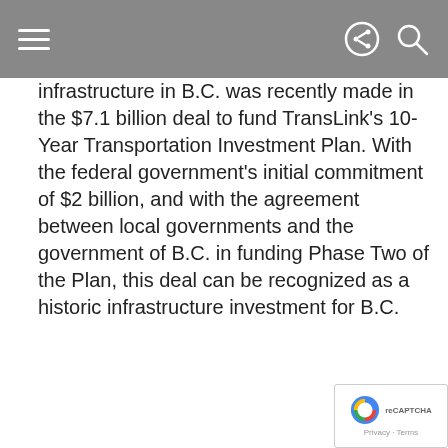[Navigation bar with hamburger menu, share icon, and search icon]
infrastructure in B.C. was recently made in the $7.1 billion deal to fund TransLink's 10-Year Transportation Investment Plan. With the federal government's initial commitment of $2 billion, and with the agreement between local governments and the government of B.C. in funding Phase Two of the Plan, this deal can be recognized as a historic infrastructure investment for B.C.
MP Randeen Sarai believes a significant portion of
[Figure (other): Close (X) button for overlay panel]
Email *
First name
Last name
[Figure (other): reCAPTCHA badge with Privacy and Terms text]